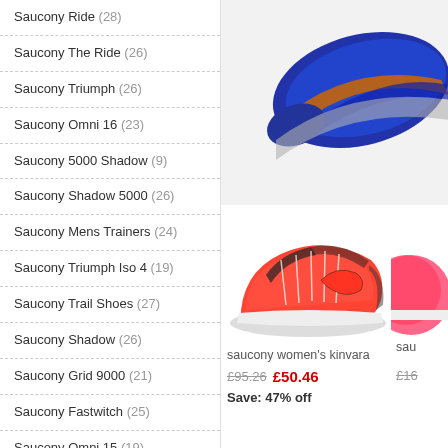Saucony Ride (28)
Saucony The Ride (26)
Saucony Triumph (26)
Saucony Omni 16 (23)
Saucony 5000 Shadow (9)
Saucony Shadow 5000 (26)
Saucony Mens Trainers (24)
Saucony Triumph Iso 4 (19)
Saucony Trail Shoes (27)
Saucony Shadow (26)
Saucony Grid 9000 (21)
Saucony Fastwitch (25)
Saucony Omni 15 (19)
Saucony Guide 10 Womens (20)
Saucony Ride Iso (21)
[Figure (photo): Top view of a Saucony running shoe showing blue and orange sole]
[Figure (photo): Saucony women's kinvara running shoe in red/coral color]
saucony women's kinvara
£95.26  £50.46  Save: 47% off
sau
£16